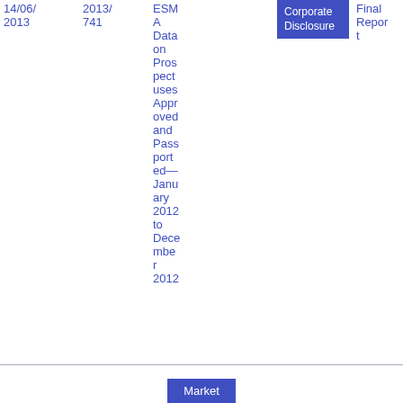| Date | Reference | Title | Type | Name | Download |
| --- | --- | --- | --- | --- | --- |
| 14/06/2013 | 2013/741 | ESMA Data on Prospectuses Approved and Passported—January 2012 to December 2012 | Corporate Disclosure | Final Report | PDF 45 7.11 KB |
Market